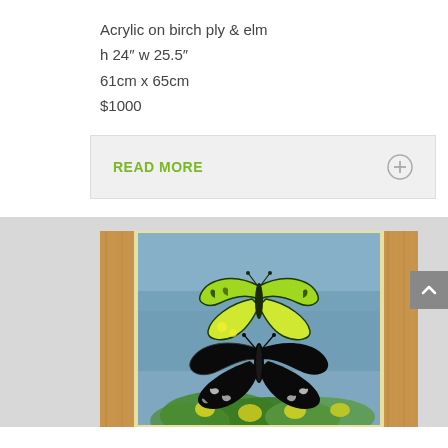Acrylic on birch ply & elm
h 24″ w 25.5″
61cm x 65cm
$1000
READ MORE
[Figure (photo): Painting of two butterflies (one green-and-black above, one dark below) on a blue misty background with green foliage and yellow flowers, mounted in a wooden elm frame.]